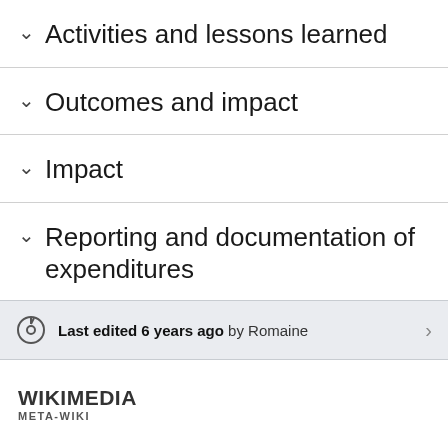Activities and lessons learned
Outcomes and impact
Impact
Reporting and documentation of expenditures
Last edited 6 years ago by Romaine
WIKIMEDIA META-WIKI